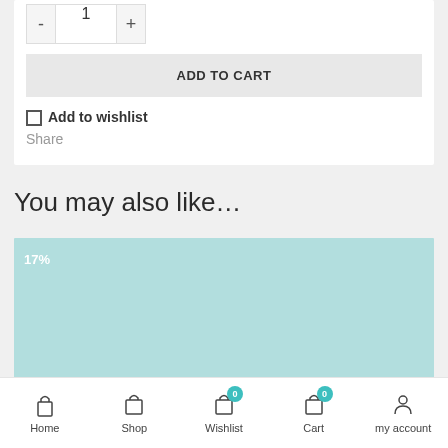- 1 +
ADD TO CART
Add to wishlist
Share
You may also like…
[Figure (other): Product image placeholder in light teal/mint color with 17% badge in top left corner]
Home  Shop  Wishlist (0)  Cart (0)  my account